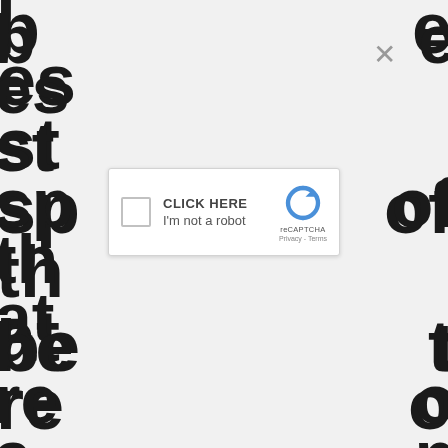[Figure (screenshot): A webpage obscured by a reCAPTCHA modal overlay. Background shows large bold partial text letters on a light grey background. In the center is a reCAPTCHA widget with a checkbox, 'CLICK HERE' label, 'I'm not a robot' text, and the reCAPTCHA logo with Privacy and Terms links. A close (×) button appears at top right of the overlay.]
CLICK HERE
I'm not a robot
reCAPTCHA
Privacy - Terms